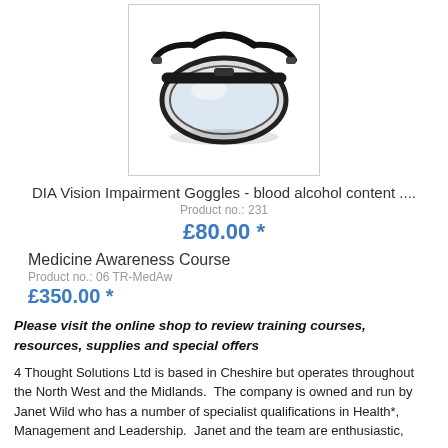[Figure (photo): Product photo of DIA Vision Impairment Goggles — clear lens safety goggles with black frame and elastic strap, displayed against white background inside a light grey bordered box.]
DIA Vision Impairment Goggles - blood alcohol content ....
Product no.: 231
£80.00 *
Medicine Awareness Course
Product no.: 06 TR-MedAw
£350.00 *
Please visit the online shop to review training courses, resources, supplies and special offers
4 Thought Solutions Ltd is based in Cheshire but operates throughout the North West and the Midlands.  The company is owned and run by Janet Wild who has a number of specialist qualifications in Health*, Management and Leadership.  Janet and the team are enthusiastic,